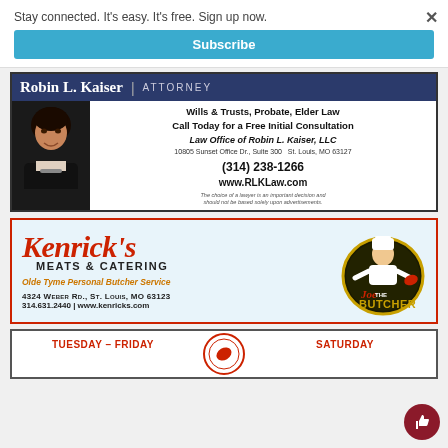Stay connected. It's easy. It's free. Sign up now.
Subscribe
[Figure (illustration): Robin L. Kaiser Attorney advertisement with photo. Wills & Trusts, Probate, Elder Law. Call Today for a Free Initial Consultation. Law Office of Robin L. Kaiser, LLC. 10805 Sunset Office Dr., Suite 300, St. Louis, MO 63127. (314) 238-1266. www.RLKLaw.com]
[Figure (illustration): Kenrick's Meats & Catering advertisement. Olde Tyme Personal Butcher Service. 4324 Weber Rd., St. Louis, MO 63123. 314.631.2440 | www.kenricks.com. Joe The Butcher logo.]
[Figure (illustration): Partial bottom advertisement showing TUESDAY - FRIDAY and SATURDAY text with a circular logo/emblem in the center.]